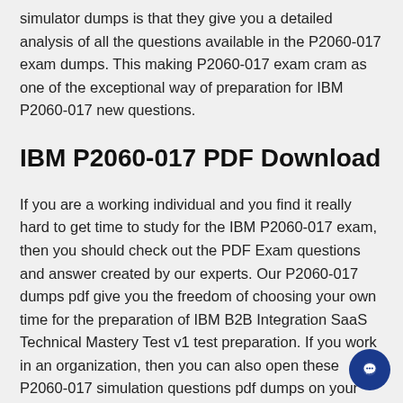simulator dumps is that they give you a detailed analysis of all the questions available in the P2060-017 exam dumps. This making P2060-017 exam cram as one of the exceptional way of preparation for IBM P2060-017 new questions.
IBM P2060-017 PDF Download
If you are a working individual and you find it really hard to get time to study for the IBM P2060-017 exam, then you should check out the PDF Exam questions and answer created by our experts. Our P2060-017 dumps pdf give you the freedom of choosing your own time for the preparation of IBM B2B Integration SaaS Technical Mastery Test v1 test preparation. If you work in an organization, then you can also open these P2060-017 simulation questions pdf dumps on your desktop and do the magic of preparation.
P2060-017 Practice Test |